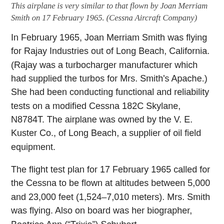This airplane is very similar to that flown by Joan Merriam Smith on 17 February 1965. (Cessna Aircraft Company)
In February 1965, Joan Merriam Smith was flying for Rajay Industries out of Long Beach, California. (Rajay was a turbocharger manufacturer which had supplied the turbos for Mrs. Smith's Apache.) She had been conducting functional and reliability tests on a modified Cessna 182C Skylane, N8784T. The airplane was owned by the V. E. Kuster Co., of Long Beach, a supplier of oil field equipment.
The flight test plan for 17 February 1965 called for the Cessna to be flown at altitudes between 5,000 and 23,000 feet (1,524–7,010 meters). Mrs. Smith was flying. Also on board was her biographer, Beatrice Ann (“Trixie”) Schubert.
Smith was flying across the San Gabriel Mountains, which divide southern California’s coastal plain from the high desert. The highest peak in the range, Mount San Antonio,